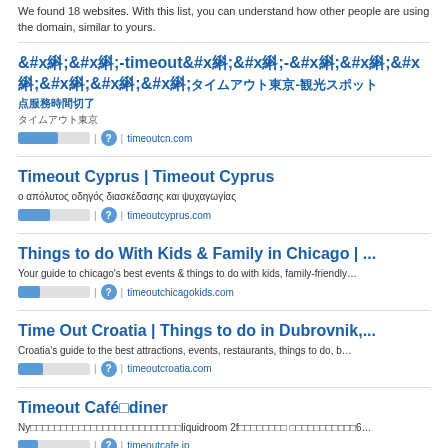We found 18 websites. With this list, you can understand how other people are using the domain, similar to yours.
䐀䐀-timeout䐀䐀-䐀䐀䐀䐀䐀䐀 | 䐀䐀䐀䐀䐀䐀䐀䐀 | timeoutcn.com
Timeout Cyprus | Timeout Cyprus | ο απόλυτος οδηγός διασκέδασης και ψυχαγωγίας | timeoutcyprus.com
Things to do With Kids & Family in Chicago | ... | Your guide to chicago's best events & things to do with kids, family-friendly... | timeoutchicagokids.com
Time Out Croatia | Things to do in Dubrovnik,... | Croatia's guide to the best attractions, events, restaurants, things to do, b... | timeoutcroatia.com
Timeout Café diner | Ny... liquidroom 2f... 6... | timeoutcafe.jp